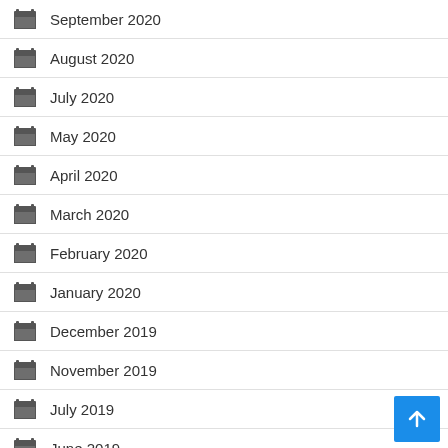September 2020
August 2020
July 2020
May 2020
April 2020
March 2020
February 2020
January 2020
December 2019
November 2019
July 2019
June 2019
March 2019